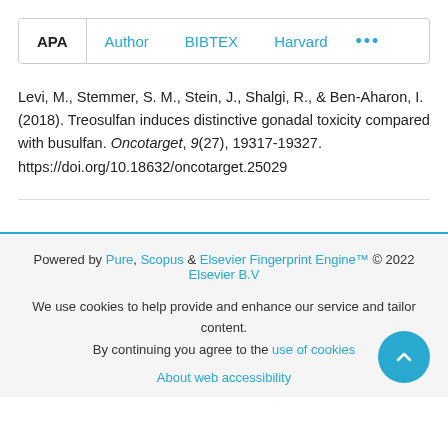[Figure (other): Tab bar with APA selected, and Author, BIBTEX, Harvard, and more (…) tabs]
Levi, M., Stemmer, S. M., Stein, J., Shalgi, R., & Ben-Aharon, I. (2018). Treosulfan induces distinctive gonadal toxicity compared with busulfan. Oncotarget, 9(27), 19317-19327. https://doi.org/10.18632/oncotarget.25029
Powered by Pure, Scopus & Elsevier Fingerprint Engine™ © 2022 Elsevier B.V
We use cookies to help provide and enhance our service and tailor content. By continuing you agree to the use of cookies
About web accessibility